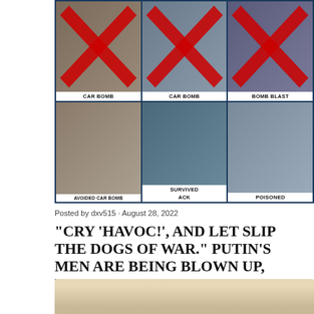[Figure (infographic): Grid of 6 faces with red X marks over some, labeled: CAR BOMB (x2), BOMB BLAST, AVOIDED CAR BOMB, SURVIVED [ATTACK], POISONED. Dark blue background collage of Russian figures.]
Posted by dxv515 · August 28, 2022
"CRY 'HAVOC!', AND LET SLIP THE DOGS OF WAR." PUTIN'S MEN ARE BEING BLOWN UP, POISONED AND SHOT...
Share   Post a Comment
[Figure (photo): Partial photo at bottom of page showing top of a person's head with blonde/light hair, cropped.]